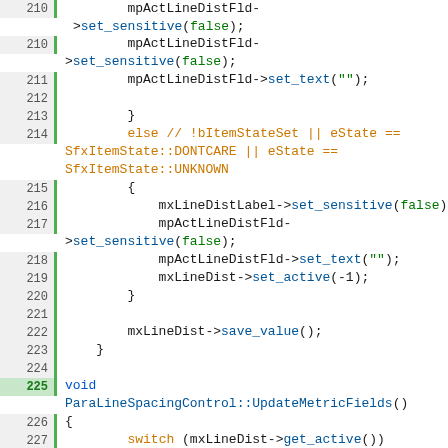[Figure (screenshot): Source code editor showing C++ code for ParaLineSpacingControl class, lines 210-237, with syntax highlighting. Orange keywords include else, switch, case. Green keywords include false, true. Blue text for method names and variables. Line numbers shown on the left with a green border.]